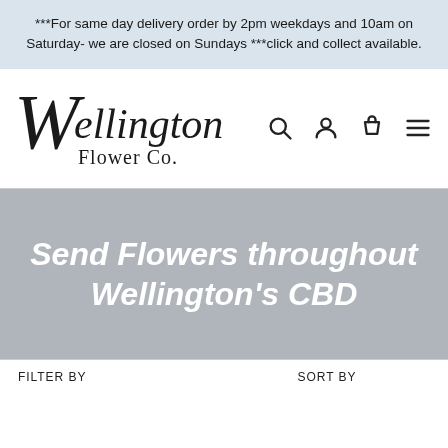***For same day delivery order by 2pm weekdays and 10am on Saturday- we are closed on Sundays ***click and collect available.
[Figure (logo): Wellington Flower Co. cursive script logo with search, account, cart, and menu icons]
Send Flowers throughout Wellington's CBD
FILTER BY
SORT BY